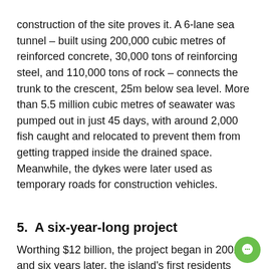construction of the site proves it. A 6-lane sea tunnel – built using 200,000 cubic metres of reinforced concrete, 30,000 tons of reinforcing steel, and 110,000 tons of rock – connects the trunk to the crescent, 25m below sea level. More than 5.5 million cubic metres of seawater was pumped out in just 45 days, with around 2,000 fish caught and relocated to prevent them from getting trapped inside the drained space. Meanwhile, the dykes were later used as temporary roads for construction vehicles.
5.  A six-year-long project
Worthing $12 billion, the project began in 2001 and six years later, the island's first residents moved in. Across the 17 fronds, you can find 1,500 beachfront mansions, with a further 6,000 apartments on the trunk. Major hotels on the crescent include Atlantis The Palm and the Waldorf Astoria, while the 5*-star hotel St. Regis Dubai part of The